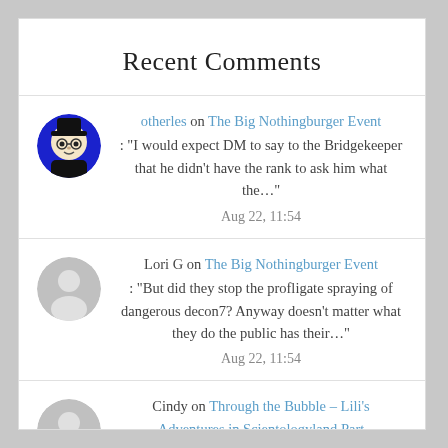Recent Comments
otherles on The Big Nothingburger Event: “I would expect DM to say to the Bridgekeeper that he didn’t have the rank to ask him what the…” Aug 22, 11:54
Lori G on The Big Nothingburger Event: “But did they stop the profligate spraying of dangerous decon7? Anyway doesn’t matter what they do the public has their…” Aug 22, 11:54
Cindy on Through the Bubble – Lili’s Adventures in Scientologyland Part